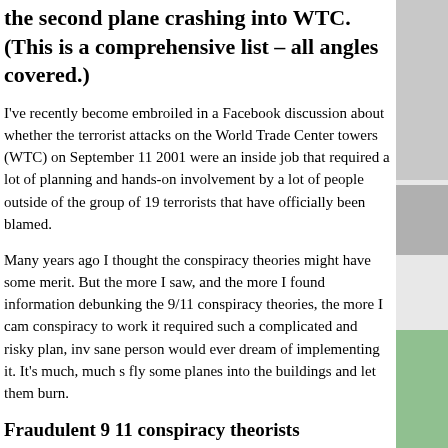the second plane crashing into WTC. (This is a comprehensive list – all angles covered.)
I've recently become embroiled in a Facebook discussion about whether the terrorist attacks on the World Trade Center towers (WTC) on September 11 2001 were an inside job that required a lot of planning and hands-on involvement by a lot of people outside of the group of 19 terrorists that have officially been blamed.
Many years ago I thought the conspiracy theories might have some merit. But the more I saw, and the more I found information debunking the 9/11 conspiracy theories, the more I cam conspiracy to work it required such a complicated and risky plan, inv sane person would ever dream of implementing it. It's much, much s fly some planes into the buildings and let them burn.
Fraudulent 9 11 conspiracy theorists
I was drawn back into this quagmire by this 9/11 conspiracy video which claims that the second plane wasn't really a plane but a round disk. And that they made it look like a plane in video footage by photoshopping an airplane over the top of the ball. (Of course, you can buy the video on DVD from their website.)
I believe that the makers of this video are typical of some